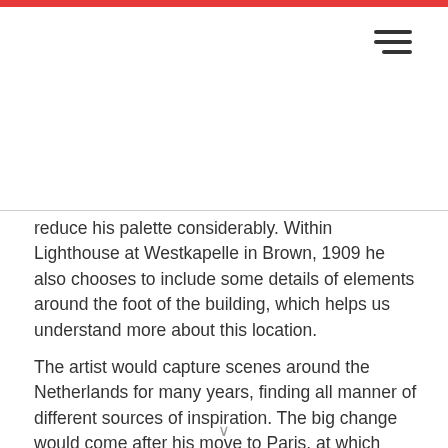[Figure (other): Hamburger menu icon (three horizontal lines) in the top right area]
reduce his palette considerably. Within Lighthouse at Westkapelle in Brown, 1909 he also chooses to include some details of elements around the foot of the building, which helps us understand more about this location.
The artist would capture scenes around the Netherlands for many years, finding all manner of different sources of inspiration. The big change would come after his move to Paris, at which point he started to delve deeper into the world of abstract art and from that point onwards his connection to the Netherlands starting to fade. He would create many interpretations of this lighthouse in Westkapelle between the years of 1909-1911. He seemed struck by its unique nature, standing free by itself high